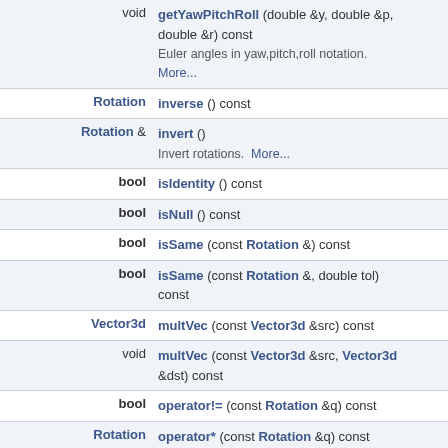| Return type | Function signature |
| --- | --- |
| void | getYawPitchRoll (double &y, double &p, double &r) const
Euler angles in yaw,pitch,roll notation. More... |
| Rotation | inverse () const |
| Rotation & | invert ()
Invert rotations. More... |
| bool | isIdentity () const |
| bool | isNull () const |
| bool | isSame (const Rotation &) const |
| bool | isSame (const Rotation &, double tol) const |
| Vector3d | multVec (const Vector3d &src) const |
| void | multVec (const Vector3d &src, Vector3d &dst) const |
| bool | operator!= (const Rotation &q) const |
| Rotation | operator* (const Rotation &q) const |
| Rotation & | operator*= (const Rotation &q)
Operators. More... |